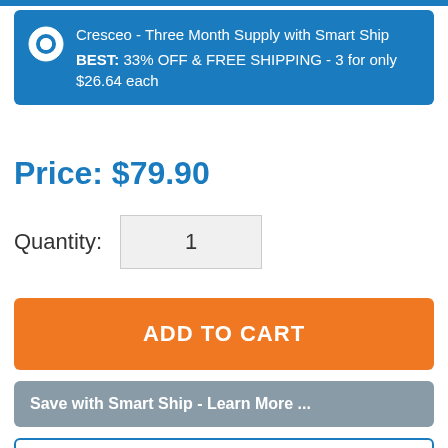Cresceo - Three Month Supply with Smart Ship BEST: 33% OFF & FREE SHIPPING - 3 for only $26.64 each
Price: $79.90
Quantity: 1
ADD TO CART
Save with Smart Ship - Learn More ...
Description